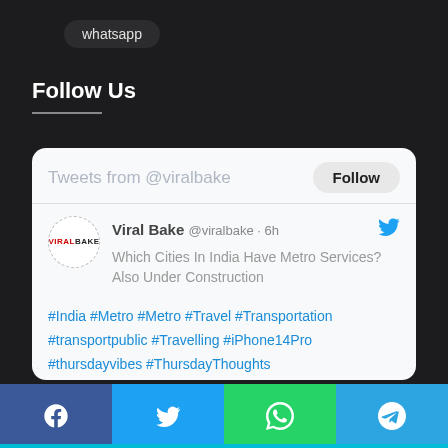whatsapp
Follow Us
[Figure (screenshot): Embedded Twitter/X widget showing tweets from @viralbake. Contains a Follow button, avatar with VIRALBAKE logo, tweet by Viral Bake @viralbake 6h ago: 'Which Cities In India Have Metro Services? Also Under Construction' with hashtags #India #Metro #Metro #Travel #Transportation #transportpublic #Travelling #iPhone14Pro #thursdayvibes #ThursdayThoughts and a truncated link viralbake.com/which-cities-i]
[Figure (infographic): Social share bar with four buttons: Facebook (blue), Twitter (cyan), WhatsApp (green), Telegram (blue)]